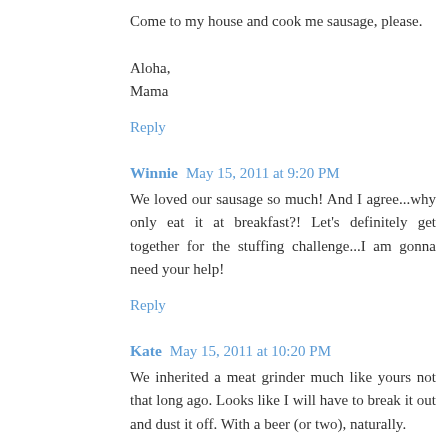Come to my house and cook me sausage, please.

Aloha,
Mama
Reply
Winnie  May 15, 2011 at 9:20 PM
We loved our sausage so much! And I agree...why only eat it at breakfast?! Let's definitely get together for the stuffing challenge...I am gonna need your help!
Reply
Kate  May 15, 2011 at 10:20 PM
We inherited a meat grinder much like yours not that long ago. Looks like I will have to break it out and dust it off. With a beer (or two), naturally.
Reply